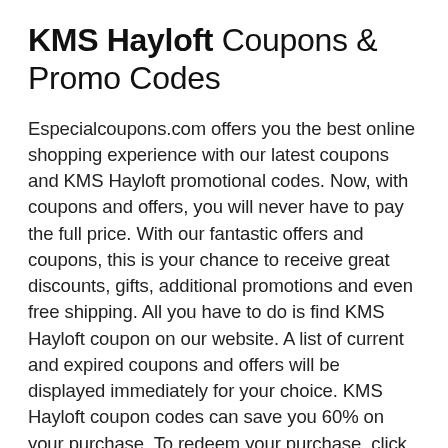KMS Hayloft Coupons & Promo Codes
Especialcoupons.com offers you the best online shopping experience with our latest coupons and KMS Hayloft promotional codes. Now, with coupons and offers, you will never have to pay the full price. With our fantastic offers and coupons, this is your chance to receive great discounts, gifts, additional promotions and even free shipping. All you have to do is find KMS Hayloft coupon on our website. A list of current and expired coupons and offers will be displayed immediately for your choice. KMS Hayloft coupon codes can save you 60% on your purchase. To redeem your purchase, click on the “Receive offer” or “Get code” button and purchase your order at a lower price. What we expect, as always, is that you and other customers can take advantage of the best savings with us.